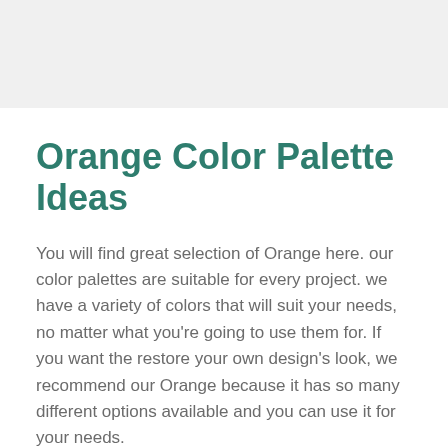Orange Color Palette Ideas
You will find great selection of Orange here. our color palettes are suitable for every project. we have a variety of colors that will suit your needs, no matter what you're going to use them for. If you want the restore your own design's look, we recommend our Orange because it has so many different options available and you can use it for your needs.